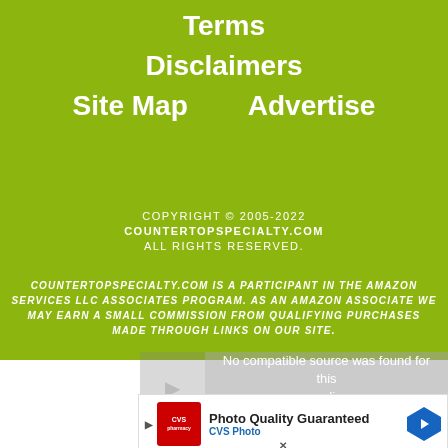Terms
Disclaimers
Site Map
Advertise
COPYRIGHT © 2005-2022
COUNTERTOPSPECIALTY.COM
ALL RIGHTS RESERVED.
COUNTERTOPSPECIALTY.COM IS A PARTICIPANT IN THE AMAZON SERVICES LLC ASSOCIATES PROGRAM. AS AN AMAZON ASSOCIATE WE MAY EARN A SMALL COMMISSION FROM QUALIFYING PURCHASES MADE THROUGH LINKS ON OUR SITE.
[Figure (screenshot): Video player overlay showing 'No compatible source was found for this media.']
[Figure (screenshot): CVS Photo advertisement banner: 'Photo Quality Guaranteed - CVS Photo']